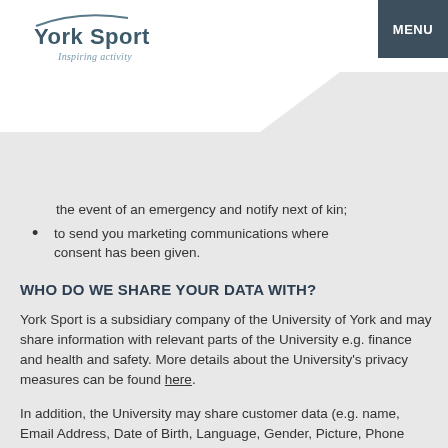[Figure (logo): York Sport logo with text 'York Sport' and tagline 'Inspiring activity']
MENU
the event of an emergency and notify next of kin;
to send you marketing communications where consent has been given.
WHO DO WE SHARE YOUR DATA WITH?
York Sport is a subsidiary company of the University of York and may share information with relevant parts of the University e.g. finance and health and safety. More details about the University's privacy measures can be found here.
In addition, the University may share customer data (e.g. name, Email Address, Date of Birth, Language, Gender, Picture, Phone Number, Home Address) with Technogym U.K. ltd to allow sign in on fitness suite equipment, record workout activity and integrate with York Sport Wellness smartphone App.